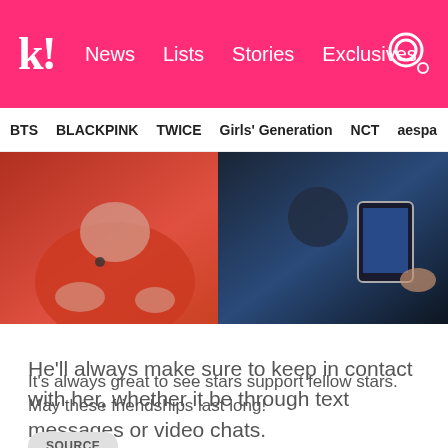k! News Lists Stories Exclusives
BTS  BLACKPINK  TWICE  Girls' Generation  NCT  aespa
[Figure (photo): Split image showing two people, left side person in red jacket appearing to gesture, right side person in dark outfit holding a tablet device]
He'll always make sure to keep in contact with her, whether it be through text messages or video chats.
It's always great to see stars support fellow stars. May these friendships last long!
SOURCE